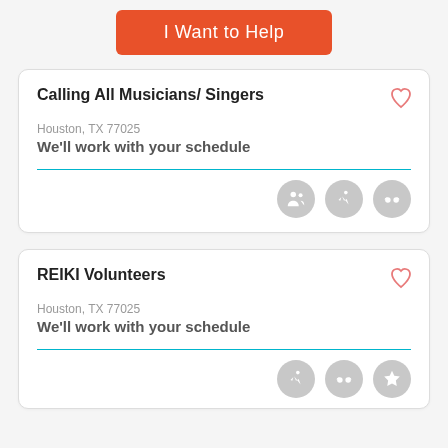I Want to Help
Calling All Musicians/ Singers
Houston, TX 77025
We'll work with your schedule
REIKI Volunteers
Houston, TX 77025
We'll work with your schedule